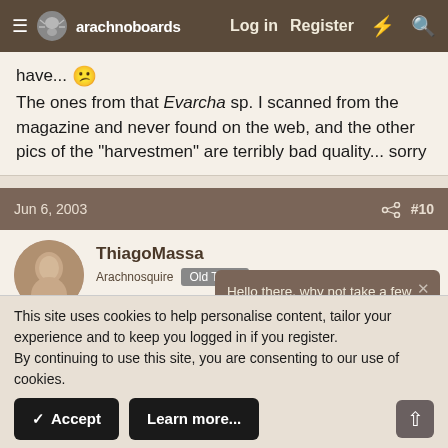arachnoboards — Log in  Register
have... 😕
The ones from that Evarcha sp. I scanned from the magazine and never found on the web, and the other pics of the "harvestmen" are terribly bad quality... sorry
Jun 6, 2003  #10
ThiagoMassa
Arachnosquire  Old Timer
R.I.P.
All the "daddy long legs" died some hours after I take them...
Hello there, why not take a few seconds to register on our forums and become part of the community? Just click here.
This site uses cookies to help personalise content, tailor your experience and to keep you logged in if you register.
By continuing to use this site, you are consenting to our use of cookies.
✓ Accept    Learn more...